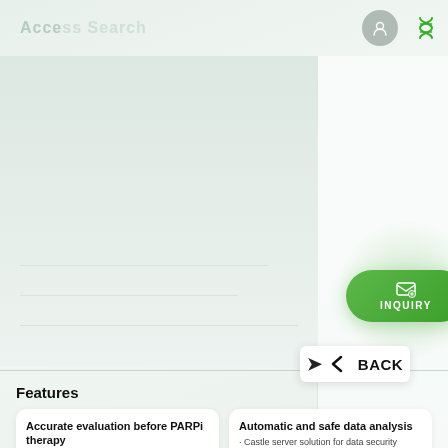[Figure (screenshot): Medical/genomic web application interface with navigation bar at top including a search-like input, user profile circle button, and DNA icon. Main content area shows a light green-grey gradient background with a green glowing INQUIRY button on the right side. A BACK button with arrow appears near bottom right.]
BACK
Features
Accurate evaluation before PARPi therapy
Automatic and safe data analysis · Castle server solution for data security